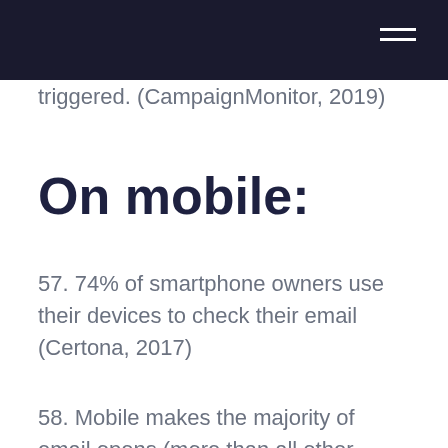triggered. (CampaignMonitor, 2019)
On mobile:
57. 74% of smartphone owners use their devices to check their email (Certona, 2017)
58. Mobile makes the majority of email opens (more than all other